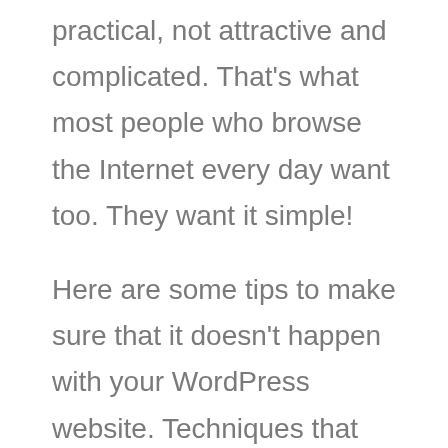practical, not attractive and complicated. That's what most people who browse the Internet every day want too. They want it simple!
Here are some tips to make sure that it doesn't happen with your WordPress website. Techniques that we have picked up that have helped me to release the website's inner speed demons.